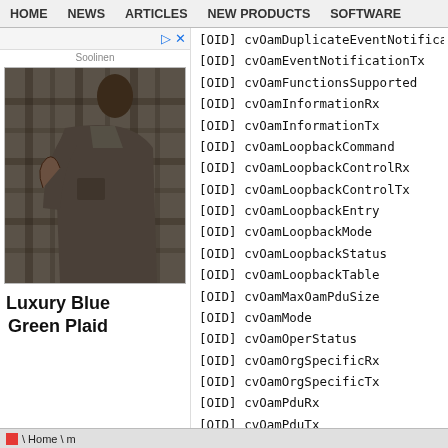HOME  NEWS  ARTICLES  NEW PRODUCTS  SOFTWARE
[Figure (photo): Advertisement showing a woman wearing a Luxury Blue Green Plaid shirt/jacket. Brand label: Soolinen.]
Luxury Blue
Green Plaid
[OID] cvOamDuplicateEventNotification...
[OID] cvOamEventNotificationTx
[OID] cvOamFunctionsSupported
[OID] cvOamInformationRx
[OID] cvOamInformationTx
[OID] cvOamLoopbackCommand
[OID] cvOamLoopbackControlRx
[OID] cvOamLoopbackControlTx
[OID] cvOamLoopbackEntry
[OID] cvOamLoopbackMode
[OID] cvOamLoopbackStatus
[OID] cvOamLoopbackTable
[OID] cvOamMaxOamPduSize
[OID] cvOamMode
[OID] cvOamOperStatus
[OID] cvOamOrgSpecificRx
[OID] cvOamOrgSpecificTx
[OID] cvOamPduRx
[OID] cvOamPduTx
[OID] cvOamPeerConfigRevision
[OID] cvOamPeerEntry
[OID] cvOamPeerFunctionsSupported
[OID] cvOamPeerMacAddress
[OID] cvOamPeerMaxOamPduSize
[OID] cvOamPeerMode
[OID] cvOamPeerMultiplexorState
Home \ m